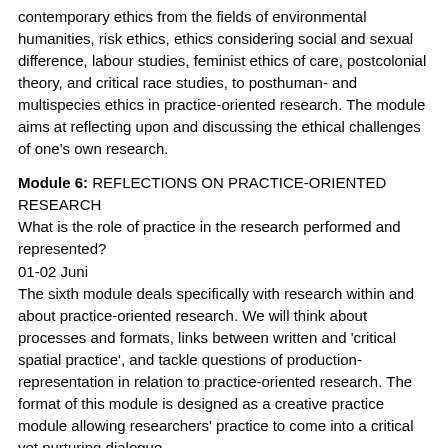contemporary ethics from the fields of environmental humanities, risk ethics, ethics considering social and sexual difference, labour studies, feminist ethics of care, postcolonial theory, and critical race studies, to posthuman- and multispecies ethics in practice-oriented research. The module aims at reflecting upon and discussing the ethical challenges of one's own research.
Module 6: REFLECTIONS ON PRACTICE-ORIENTED RESEARCH
What is the role of practice in the research performed and represented?
01-02 Juni
The sixth module deals specifically with research within and about practice-oriented research. We will think about processes and formats, links between written and 'critical spatial practice', and tackle questions of production-representation in relation to practice-oriented research. The format of this module is designed as a creative practice module allowing researchers' practice to come into a critical yet nurturing dialogue.
Intended learning outcomes
On completion of the course, participants are equipped with tools to describe and discuss concepts of knowledge in relation to research